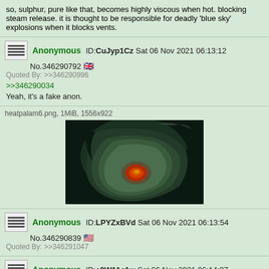so, sulphur, pure like that, becomes highly viscous when hot. blocking steam release. it is thought to be responsible for deadly 'blue sky' explosions when it blocks vents.
Anonymous ID:CuJyp1Cz Sat 06 Nov 2021 06:13:12 No.346290792 [UK flag] Quoted By: >>346290996 >>346290034 Yeah, it's a fake anon.
heatpalam6.png, 1MiB, 1556x922
[Figure (photo): Satellite or aerial photo showing a dark landscape with a reddish-orange glowing area, possibly a volcanic hotspot or fire, viewed from above.]
Anonymous ID:LPYZxBVd Sat 06 Nov 2021 06:13:54 No.346290839 [US flag] Quoted By: >>346291047
Anonymous ID:a9W11a1w Sat 06 Nov 2021 06:14:37 No.346290896 [UK flag] >>346278506 >reason unknown Damn, they look like they've been shot and dynamited but survived.